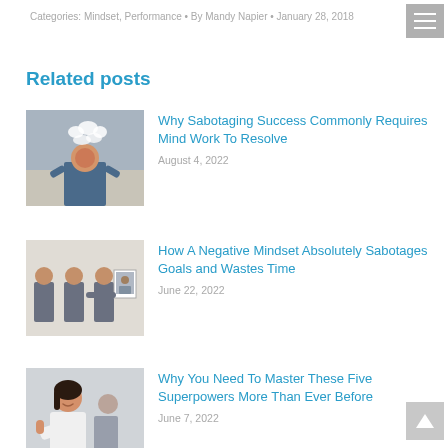Categories: Mindset, Performance • By Mandy Napier • January 28, 2018
Related posts
[Figure (photo): Person holding head with smoke/thoughts coming out, representing mind work]
Why Sabotaging Success Commonly Requires Mind Work To Resolve
August 4, 2022
[Figure (photo): Multiple images of businessman holding portrait photos, representing negative mindset]
How A Negative Mindset Absolutely Sabotages Goals and Wastes Time
June 22, 2022
[Figure (photo): Woman in business attire giving thumbs up, smiling]
Why You Need To Master These Five Superpowers More Than Ever Before
June 7, 2022